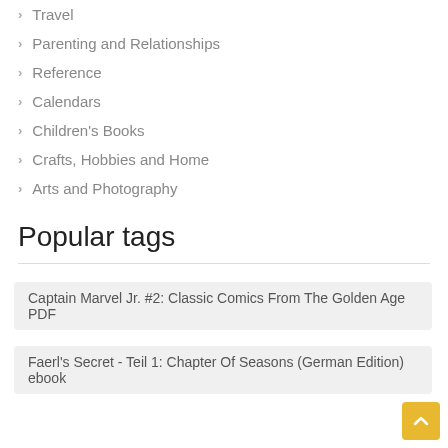Travel
Parenting and Relationships
Reference
Calendars
Children's Books
Crafts, Hobbies and Home
Arts and Photography
Popular tags
Captain Marvel Jr. #2: Classic Comics From The Golden Age PDF
Faerl's Secret - Teil 1: Chapter Of Seasons (German Edition) ebook